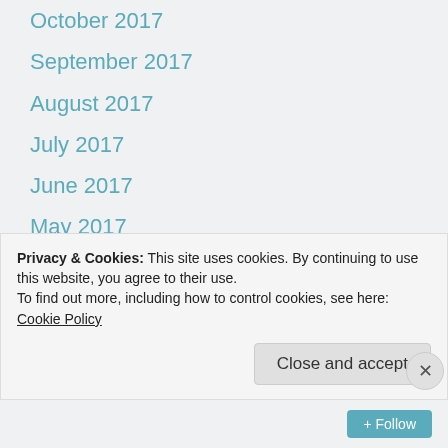October 2017
September 2017
August 2017
July 2017
June 2017
May 2017
April 2017
March 2017
February 2017
January 2017
Privacy & Cookies: This site uses cookies. By continuing to use this website, you agree to their use. To find out more, including how to control cookies, see here: Cookie Policy